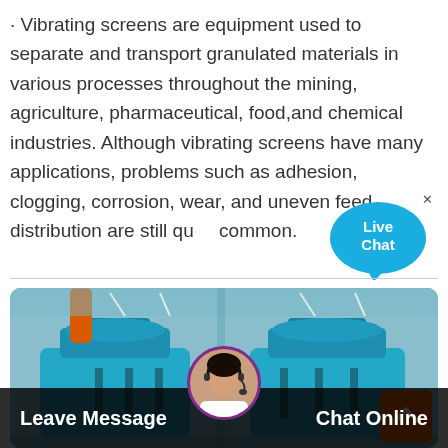· Vibrating screens are equipment used to separate and transport granulated materials in various processes throughout the mining, agriculture, pharmaceutical, food,and chemical industries. Although vibrating screens have many applications, problems such as adhesion, clogging, corrosion, wear, and uneven feed distribution are still quite common.
[Figure (photo): Industrial vibrating screen machines (cyan/blue colored) inside a manufacturing facility, shown in two side-by-side views.]